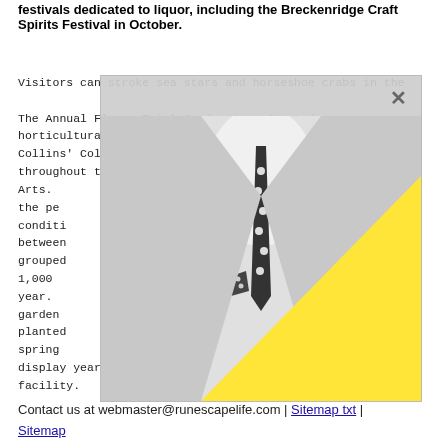festivals dedicated to liquor, including the Breckenridge Craft Spirits Festival in October.
Visitors can stroke sea stars and horseshoe crabs in the
The Annual Flower Trial Garden is a devoted horticultural research garden on the campus of Fort Collins' Colorado State University, open to the public throughout the year near the campus' Center for the Arts. ... for the pe... regional ... conditions ... ay between ... are grouped ... than 1,000 ... ch year. ... gardens ... ch is planted spring ... also on display year-round across the street from the garden facility.
[Figure (photo): Modal overlay with a black-and-white photo of a man in a suit and polka-dot tie, with a large yellow triangle graphic overlaid on the lower right portion. A close (×) button appears in the top-right of the modal.]
Contact us at webmaster@runescapelife.com | Sitemap txt | Sitemap